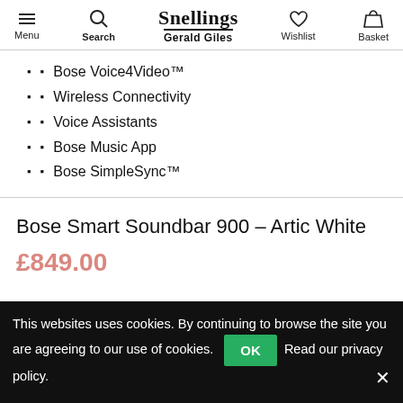Menu | Search | Snellings Gerald Giles | Wishlist | Basket
Bose Voice4Video™
Wireless Connectivity
Voice Assistants
Bose Music App
Bose SimpleSync™
Bose Smart Soundbar 900 – Artic White
£849.00
This websites uses cookies. By continuing to browse the site you are agreeing to our use of cookies. OK Read our privacy policy.